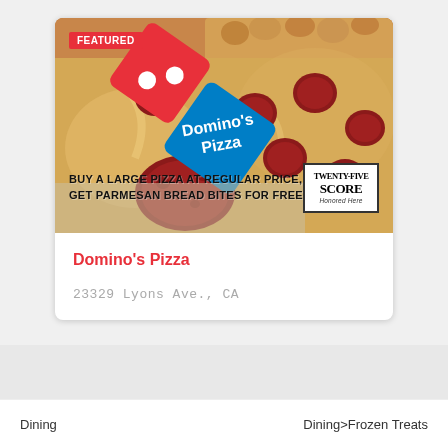[Figure (photo): Domino's Pizza advertisement showing pepperoni pizza with Domino's logo, FEATURED badge, promotional text 'BUY A LARGE PIZZA AT REGULAR PRICE, GET PARMESAN BREAD BITES FOR FREE', and Twenty-Five Score badge]
Domino's Pizza
23329 Lyons Ave., CA
Dining
Dining>Frozen Treats